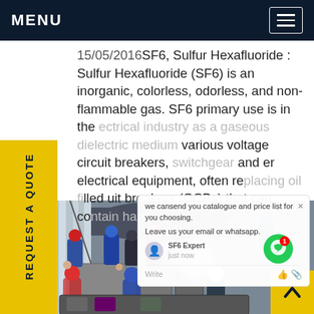MENU
15/05/2016SF6, Sulfur Hexafluoride : Sulfur Hexafluoride (SF6) is an inorganic, colorless, odorless, and non-flammable gas. SF6 primary use is in the electrical industry as a gaseous dielectric medium various voltage circuit breakers, switchgear and er electrical equipment, often replacing oil filled uit breakers (OCBs) that can contain harmful gases.Get price
[Figure (screenshot): Yellow vertical sidebar with rotated text REQUEST A QUOTE and chat popup overlay with green chat button]
[Figure (photo): Workers in hard hats and safety equipment working on industrial electrical equipment outdoors]